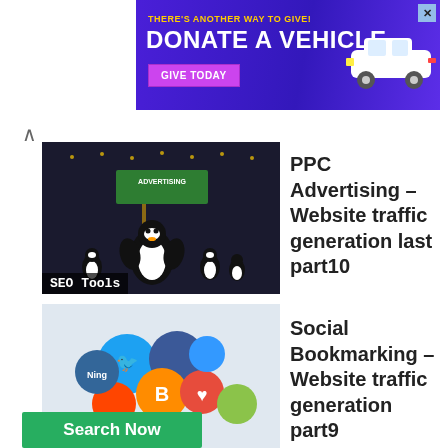[Figure (screenshot): Purple banner ad reading THERE'S ANOTHER WAY TO GIVE! DONATE A VEHICLE with a GIVE TODAY button and a white car graphic, with X close button]
[Figure (screenshot): Thumbnail image of a penguin with an ADVERTISING sign surrounded by small penguins on a dark background. Label: SEO Tools]
PPC Advertising – Website traffic generation last part10
[Figure (screenshot): Thumbnail image of social media icon balls including Blogger, Digg, Ning logos. Label: SEO Tools with YouTube badge]
Social Bookmarking – Website traffic generation part9
[Figure (screenshot): Thumbnail image with crown graphic and text 'Content is King', 'Online Marketing', 'SEO'. Label: SEO Tools]
video and audio content – Website traffic generation part8
< >  (pagination buttons)
Search Now